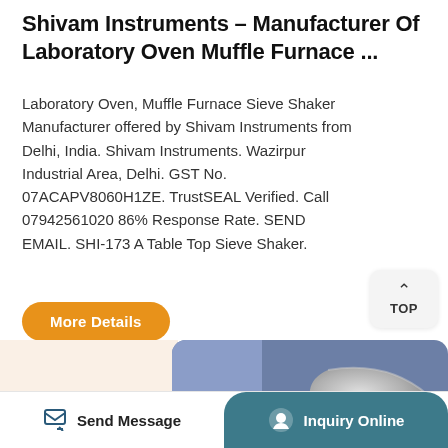Shivam Instruments – Manufacturer Of Laboratory Oven Muffle Furnace ...
Laboratory Oven, Muffle Furnace Sieve Shaker Manufacturer offered by Shivam Instruments from Delhi, India. Shivam Instruments. Wazirpur Industrial Area, Delhi. GST No. 07ACAPV8060H1ZE. TrustSEAL Verified. Call 07942561020 86% Response Rate. SEND EMAIL. SHI-173 A Table Top Sieve Shaker.
[Figure (screenshot): Orange 'More Details' rounded button]
[Figure (photo): Product image showing a laboratory instrument with a metallic handle on a blue-purple and cream background]
Send Message | Inquiry Online